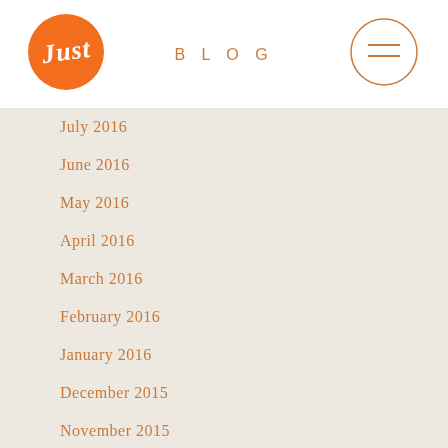[Figure (logo): Orange circle logo with cursive white 'Just' text]
BLOG
[Figure (other): Circle hamburger menu icon with two horizontal lines, orange outline]
July 2016
June 2016
May 2016
April 2016
March 2016
February 2016
January 2016
December 2015
November 2015
October 2015
September 2015